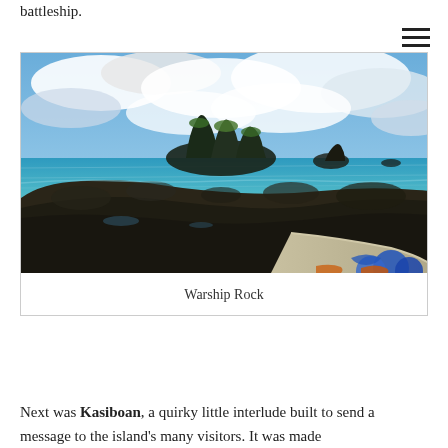battleship.
[Figure (photo): Coastal landscape photograph showing Warship Rock — dark volcanic rocks in foreground with a curved concrete wall painted in blue and orange at bottom right, turquoise ocean in middle ground, and a cluster of dramatic rocky islets in the distance under a partly cloudy blue sky.]
Warship Rock
Next was Kasiboan, a quirky little interlude built to send a message to the island's many visitors. It was made